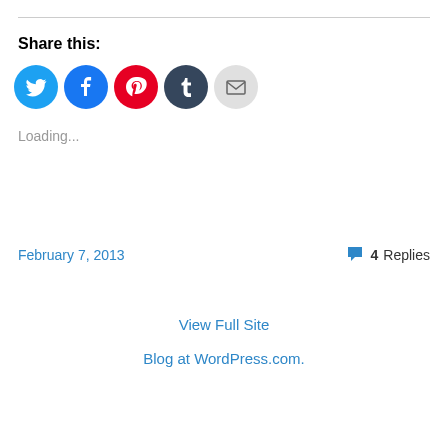Share this:
[Figure (infographic): Five social sharing icon buttons: Twitter (blue bird icon), Facebook (blue f icon), Pinterest (red P icon), Tumblr (dark blue t icon), Email (grey envelope icon)]
Loading...
February 7, 2013
4 Replies
View Full Site
Blog at WordPress.com.